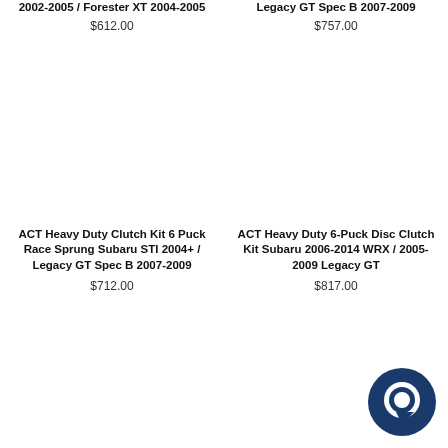ACT Heavy Duty Clutch Kit 6 Puck Race Sprung Subaru WRX 2002-2005 / Forester XT 2004-2005
$612.00
ACT Heavy Duty 6-Puck Disc Clutch Kit Subaru STI / Legacy GT Spec B 2007-2009
$757.00
ACT Heavy Duty Clutch Kit 6 Puck Race Sprung Subaru STI 2004+ / Legacy GT Spec B 2007-2009
$712.00
ACT Heavy Duty 6-Puck Disc Clutch Kit Subaru 2006-2014 WRX / 2005-2009 Legacy GT
$817.00